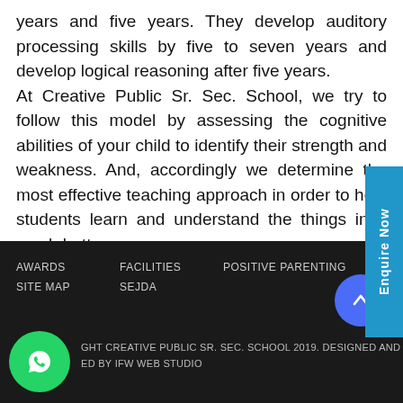years and five years. They develop auditory processing skills by five to seven years and develop logical reasoning after five years.

At Creative Public Sr. Sec. School, we try to follow this model by assessing the cognitive abilities of your child to identify their strength and weakness. And, accordingly we determine the most effective teaching approach in order to help students learn and understand the things in a much better way.
AWARDS   FACILITIES   POSITIVE PARENTING
SITE MAP   SEJDA
COPYRIGHT CREATIVE PUBLIC SR. SEC. SCHOOL 2019. DESIGNED AND DEVELOPED BY IFW WEB STUDIO